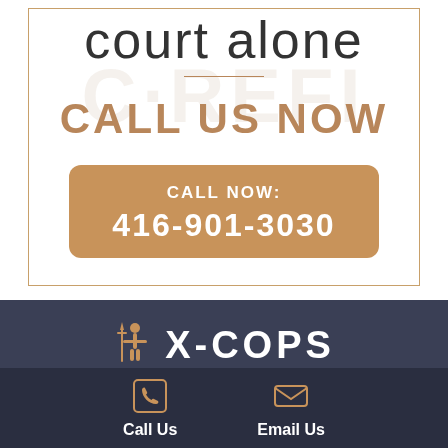court alone
CALL US NOW
CALL NOW: 416-901-3030
[Figure (logo): X-COPS logo with figure icon and text]
Call Us
Email Us